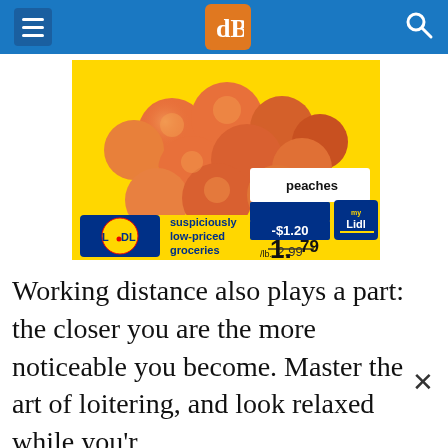dPS website navigation bar with hamburger menu, dPS logo, and search icon
[Figure (photo): Lidl grocery store advertisement showing peaches on yellow background with price tag: peaches, members only -$1.20 myLidl, 2.99 crossed out, /lb. 1.79. Lidl logo with text 'suspiciously low-priced groceries']
Working distance also plays a part: the closer you are the more noticeable you become. Master the art of loitering, and look relaxed while you'r